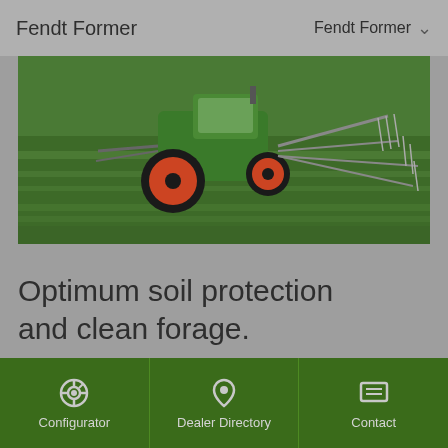Fendt Former
[Figure (photo): Aerial view of a green Fendt tractor with red wheels pulling a wide hay tedder/rake implement across a green field]
Optimum soil protection and clean forage.
Configurator | Dealer Directory | Contact